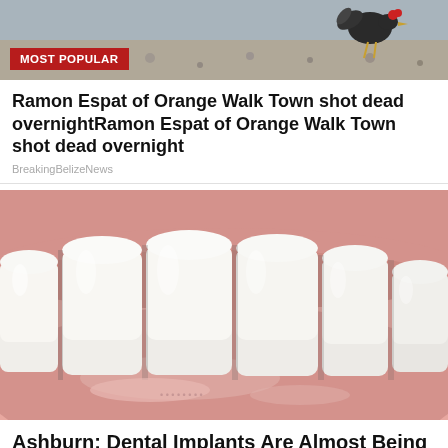[Figure (photo): Top portion of a photo showing a bird or rooster on gravel/concrete ground, partially cropped at top of page. A red 'MOST POPULAR' badge overlay in bottom-left of image.]
Ramon Espat of Orange Walk Town shot dead overnightRamon Espat of Orange Walk Town shot dead overnight
BreakingBelizeNews
[Figure (photo): Close-up photo of a human mouth showing white teeth and pink lips/gums — dental-related advertisement image.]
Ashburn: Dental Implants Are Almost Being Given